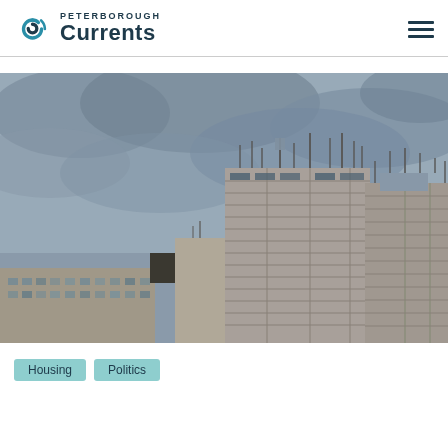Peterborough Currents
[Figure (photo): Photograph of brutalist concrete high-rise apartment buildings against a cloudy overcast sky, with multiple cellular/communication antennas on the rooftop.]
Housing   Politics